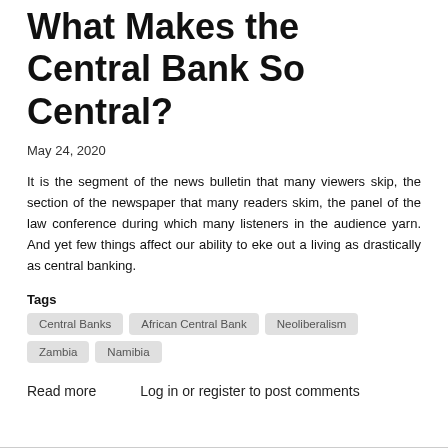What Makes the Central Bank So Central?
May 24, 2020
It is the segment of the news bulletin that many viewers skip, the section of the newspaper that many readers skim, the panel of the law conference during which many listeners in the audience yarn. And yet few things affect our ability to eke out a living as drastically as central banking.
Tags
Central Banks
African Central Bank
Neoliberalism
Zambia
Namibia
Read more
Log in or register to post comments